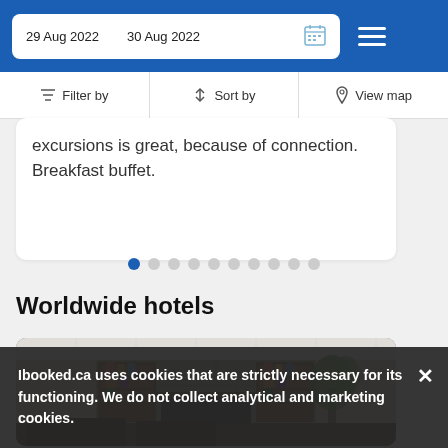29 Aug 2022   30 Aug 2022
Filter by   Sort by   View map
excursions is great, because of connection. Breakfast buffet.
[Figure (screenshot): Pagination dot indicators, 10 dots with first dot active (dark blue)]
Worldwide hotels
[Figure (photo): Hotel lobby interior with stone fireplace, wooden bookshelves with decorative items, and a plant visible on the right side]
Ibooked.ca uses cookies that are strictly necessary for its functioning. We do not collect analytical and marketing cookies.